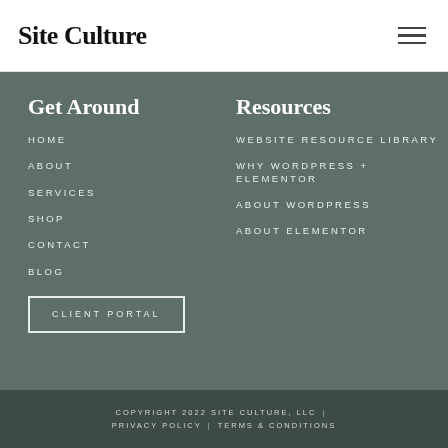Site Culture
Get Around
HOME
ABOUT
SERVICES
SHOP
CONTACT
BLOG
CLIENT PORTAL
Resources
WEBSITE RESOURCE LIBRARY
WHY WORDPRESS + ELEMENTOR
ABOUT WORDPRESS
ABOUT ELEMENTOR
COPYRIGHT 2022 SITE CULTURE, LLC | PRIVACY POLICY | TERMS & CONDITIONS